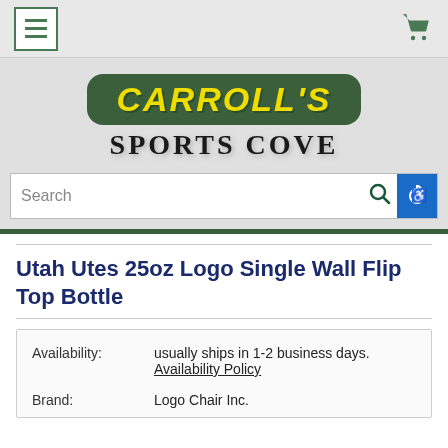Carroll's Sports Cove — navigation bar with hamburger menu and cart icon
[Figure (logo): Carroll's Sports Cove logo: green rounded badge with yellow italic CARROLL'S text, and SPORTS COVE in large dark serif letters below]
Search
Utah Utes 25oz Logo Single Wall Flip Top Bottle
| Field | Value |
| --- | --- |
| Availability: | usually ships in 1-2 business days. Availability Policy |
| Brand: | Logo Chair Inc. |